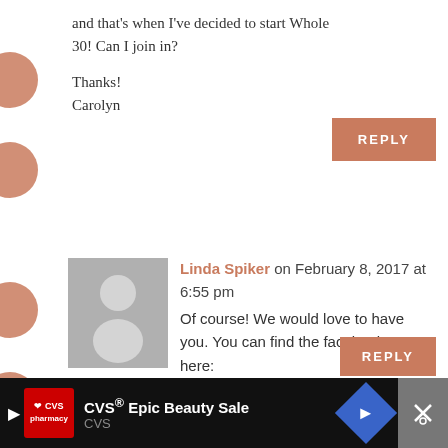and that's when I've decided to start Whole 30! Can I join in?

Thanks!
Carolyn
Linda Spiker on February 8, 2017 at 6:55 pm
Of course! We would love to have you. You can find the facebook page here:
https://www.facebook.com/groups/1723043131259574/
[Figure (other): CVS advertisement bar at the bottom of the page showing CVS Epic Beauty Sale]